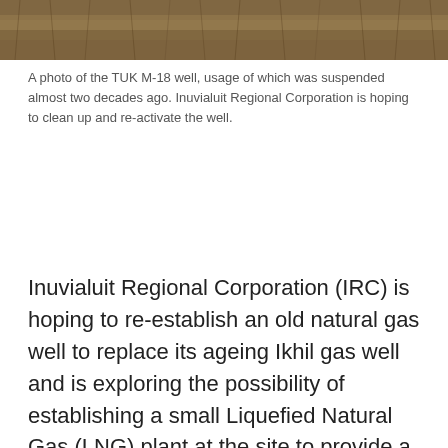[Figure (photo): A photo of the TUK M-18 well showing natural terrain with dried grass and earth tones.]
A photo of the TUK M-18 well, usage of which was suspended almost two decades ago. Inuvialuit Regional Corporation is hoping to clean up and re-activate the well.
Inuvialuit Regional Corporation (IRC) is hoping to re-establish an old natural gas well to replace its ageing Ikhil gas well and is exploring the possibility of establishing a small Liquefied Natural Gas (LNG) plant at the site to provide a cleaner alternative to diesel.